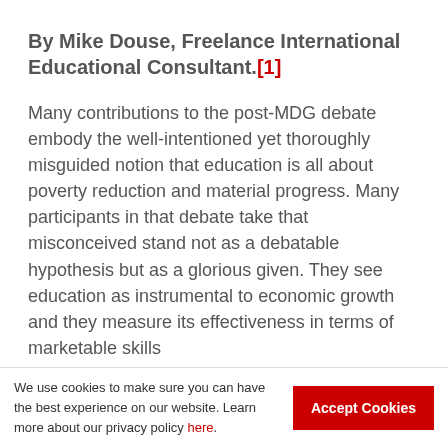By Mike Douse, Freelance International Educational Consultant.[1]
Many contributions to the post-MDG debate embody the well-intentioned yet thoroughly misguided notion that education is all about poverty reduction and material progress. Many participants in that debate take that misconceived stand not as a debatable hypothesis but as a glorious given. They see education as instrumental to economic growth and they measure its effectiveness in terms of marketable skills
We use cookies to make sure you can have the best experience on our website. Learn more about our privacy policy here. Accept Cookies